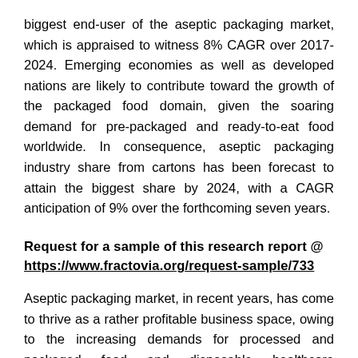biggest end-user of the aseptic packaging market, which is appraised to witness 8% CAGR over 2017-2024. Emerging economies as well as developed nations are likely to contribute toward the growth of the packaged food domain, given the soaring demand for pre-packaged and ready-to-eat food worldwide. In consequence, aseptic packaging industry share from cartons has been forecast to attain the biggest share by 2024, with a CAGR anticipation of 9% over the forthcoming seven years.
Request for a sample of this research report @ https://www.fractovia.org/request-sample/733
Aseptic packaging market, in recent years, has come to thrive as a rather profitable business space, owing to the increasing demands for processed and packaged food and disposable healthcare instruments like vials and